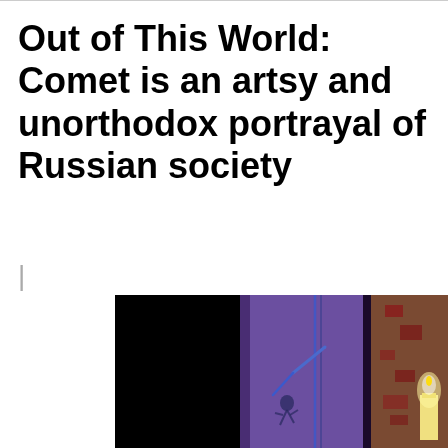Out of This World: Comet is an artsy and unorthodox portrayal of Russian society
[Figure (photo): Dark cinematic still from the film Comet showing a purple-lit wall or door with clock hands and a candle visible on the right side, set against a dark black background on the left.]